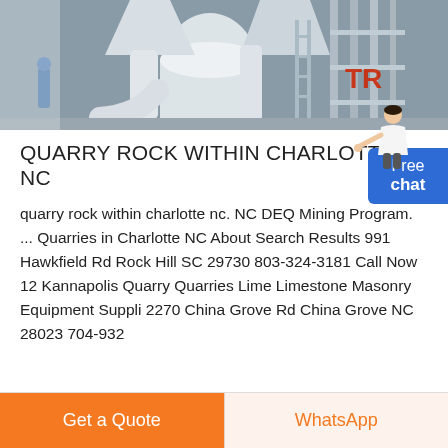[Figure (photo): Industrial grinding mill equipment inside a factory — large white cylindrical machines, pipes, conveyor structures, and steel framework visible. One worker in blue visible on the left. Red 'TR' lettering partially visible on equipment in background.]
QUARRY ROCK WITHIN CHARLOTTE NC
quarry rock within charlotte nc. NC DEQ Mining Program. ... Quarries in Charlotte NC About Search Results 991 Hawkfield Rd Rock Hill SC 29730 803-324-3181 Call Now 12 Kannapolis Quarry Quarries Lime Limestone Masonry Equipment Suppli 2270 China Grove Rd China Grove NC 28023 704-932
[Figure (photo): Partial bottom strip showing thumbnails of additional related images — colorful partial logos and machinery images visible.]
Get a Quote
WhatsApp